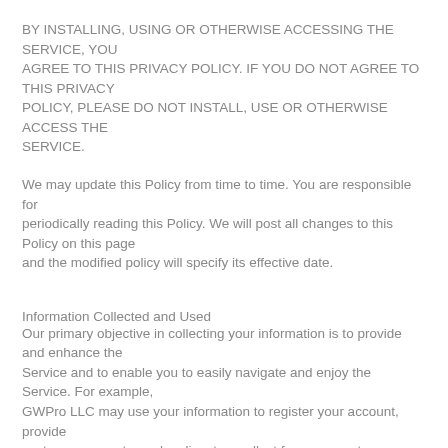BY INSTALLING, USING OR OTHERWISE ACCESSING THE SERVICE, YOU AGREE TO THIS PRIVACY POLICY. IF YOU DO NOT AGREE TO THIS PRIVACY POLICY, PLEASE DO NOT INSTALL, USE OR OTHERWISE ACCESS THE SERVICE.
We may update this Policy from time to time. You are responsible for periodically reading this Policy. We will post all changes to this Policy on this page and the modified policy will specify its effective date.
Information Collected and Used
Our primary objective in collecting your information is to provide and enhance the Service and to enable you to easily navigate and enjoy the Service. For example, GWPro LLC may use your information to register your account, provide customer support, resolve disputes, collect fees, connect users